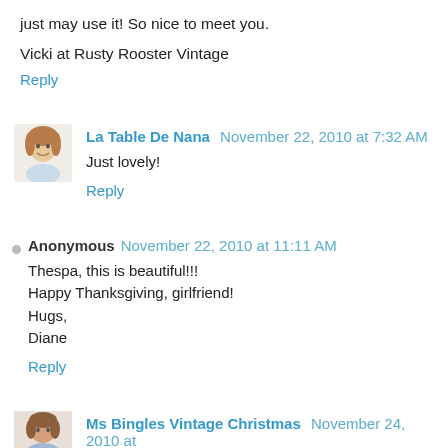just may use it! So nice to meet you.
Vicki at Rusty Rooster Vintage
Reply
La Table De Nana  November 22, 2010 at 7:32 AM
Just lovely!
Reply
Anonymous  November 22, 2010 at 11:11 AM
Thespa, this is beautiful!!!
Happy Thanksgiving, girlfriend!
Hugs,
Diane
Reply
Ms Bingles Vintage Christmas  November 24, 2010 at